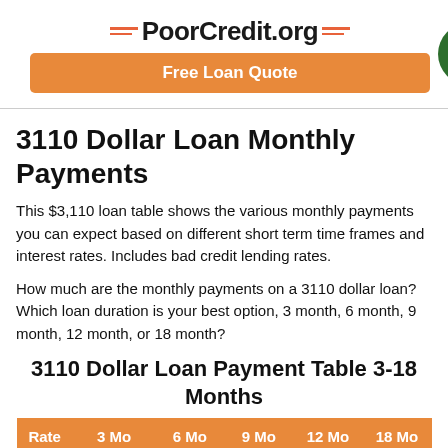PoorCredit.org — Free Loan Quote
3110 Dollar Loan Monthly Payments
This $3,110 loan table shows the various monthly payments you can expect based on different short term time frames and interest rates. Includes bad credit lending rates.
How much are the monthly payments on a 3110 dollar loan? Which loan duration is your best option, 3 month, 6 month, 9 month, 12 month, or 18 month?
3110 Dollar Loan Payment Table 3-18 Months
| Rate | 3 Mo | 6 Mo | 9 Mo | 12 Mo | 18 Mo |
| --- | --- | --- | --- | --- | --- |
| 0.00% | $1,036.67 | $518.33 | $345.56 | $259.17 | $172.78 |